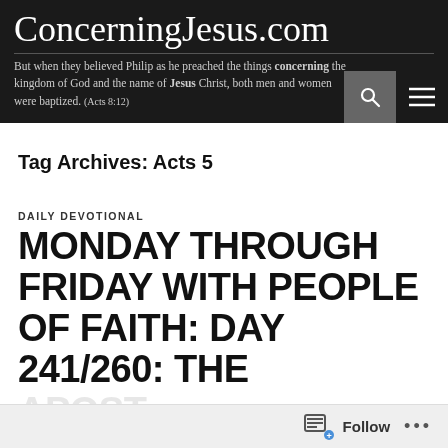ConcerningJesus.com
But when they believed Philip as he preached the things concerning the kingdom of God and the name of Jesus Christ, both men and women were baptized. (Acts 8:12)
Tag Archives: Acts 5
DAILY DEVOTIONAL
MONDAY THROUGH FRIDAY WITH PEOPLE OF FAITH: DAY 241/260: THE
Follow ...